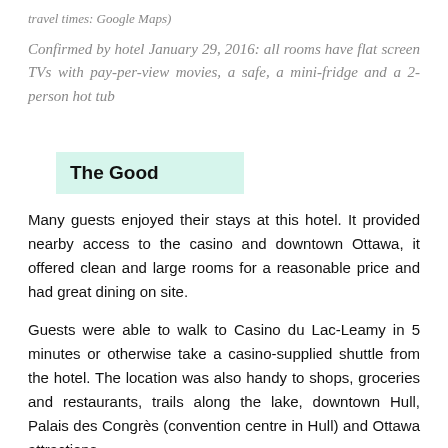travel times: Google Maps)
Confirmed by hotel January 29, 2016: all rooms have flat screen TVs with pay-per-view movies, a safe, a mini-fridge and a 2-person hot tub
The Good
Many guests enjoyed their stays at this hotel. It provided nearby access to the casino and downtown Ottawa, it offered clean and large rooms for a reasonable price and had great dining on site.
Guests were able to walk to Casino du Lac-Leamy in 5 minutes or otherwise take a casino-supplied shuttle from the hotel. The location was also handy to shops, groceries and restaurants, trails along the lake, downtown Hull, Palais des Congrès (convention centre in Hull) and Ottawa attractions.